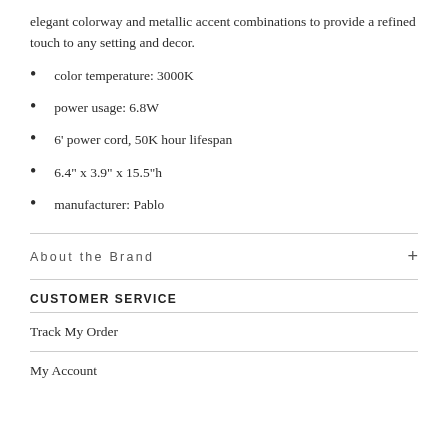elegant colorway and metallic accent combinations to provide a refined touch to any setting and decor.
color temperature: 3000K
power usage: 6.8W
6' power cord, 50K hour lifespan
6.4" x 3.9"  x 15.5"h
manufacturer: Pablo
About the Brand
CUSTOMER SERVICE
Track My Order
My Account